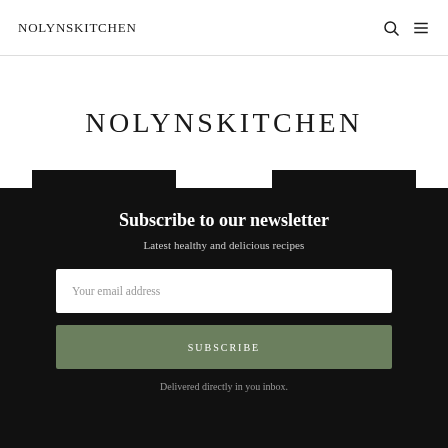NOLYNSKITCHEN
NOLYNSKITCHEN
Subscribe to our newsletter
Latest healthy and delicious recipes
Your email address
SUBSCRIBE
Delivered directly in you inbox.